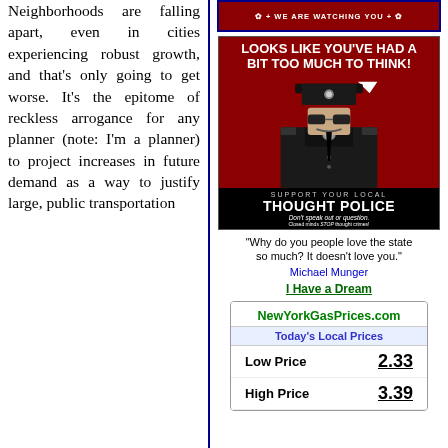Neighborhoods are falling apart, even in cities experiencing robust growth, and that's only going to get worse. It's the epitome of reckless arrogance for any planner (note: I'm a planner) to project increases in future demand as a way to justify large, public transportation
[Figure (illustration): Banner with text 'WE ARE WATCHING YOU' on dark red background with decorative elements]
[Figure (illustration): Thought police propaganda poster showing a police officer with sunglasses in dark uniform on red background. Text reads: LOOKS LIKE YOU'VE HAD A BIT TOO MUCH TO THINK! Support your local THOUGHT POLICE Don't speak out or question. Closed minds STOP thought crimes!]
"Why do you people love the state so much? It doesn't love you." Michael Munger
I Have a Dream
| NewYorkGasPrices.com |  |
| --- | --- |
| Today's Local Prices |  |
| Low Price | 2.33 |
| High Price | 3.39 |